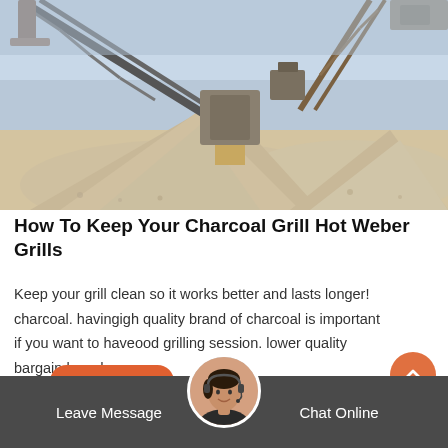[Figure (photo): Industrial mining or quarry equipment with conveyor belts and large piles of gravel/sand/aggregate material outdoors under a clear sky.]
How To Keep Your Charcoal Grill Hot Weber Grills
Keep your grill clean so it works better and lasts longer! charcoal. havingigh quality brand of charcoal is important if you want to haveood grilling session. lower quality bargain brands can…
[Figure (illustration): Orange circular scroll-to-top button with an upward-pointing chevron arrow.]
[Figure (photo): Customer service representative avatar — a woman wearing a headset, shown in a circular frame at the bottom center.]
Live Chat
Leave Message
Chat Online